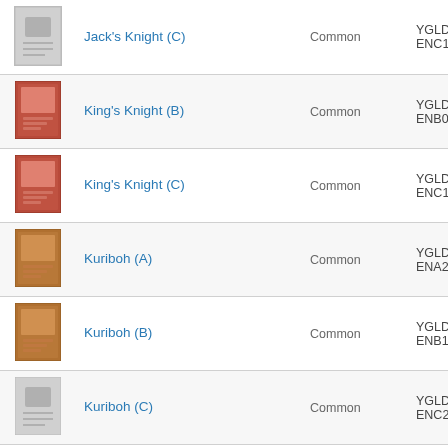| Image | Name | Rarity | Code |
| --- | --- | --- | --- |
| [img] | Jack's Knight (C) | Common | YGLD-ENC13 |
| [img] | King's Knight (B) | Common | YGLD-ENB08 |
| [img] | King's Knight (C) | Common | YGLD-ENC15 |
| [img] | Kuriboh (A) | Common | YGLD-ENA22 |
| [img] | Kuriboh (B) | Common | YGLD-ENB15 |
| [img] | Kuriboh (C) | Common | YGLD-ENC23 |
| [img] | Left Arm of the Forbidden One (A) | Ultra Rare | YGLD-ENA21 |
| [img] | Left Leg of the Forbidden One (A) | Ultra Rare | YGLD-ENA19 |
| [img] | Lightforce Sword (B) | Common | YGLD-ENB37 |
| [img] | Magic Cylinder (B) | Common | YGLD-ENB35 |